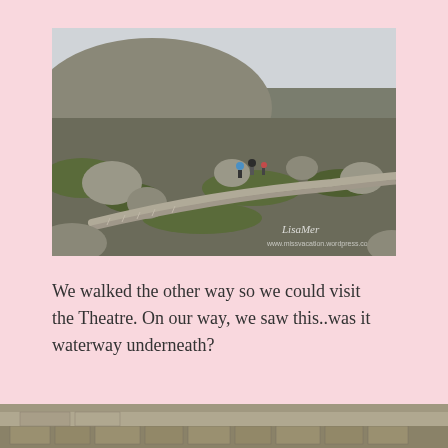[Figure (photo): Rocky hillside with large boulders, moss and scrubby vegetation, a dry-stone wall pathway leading up the slope, and several hikers visible in the middle distance against an overcast sky. Watermark reads 'LisaMer' and 'www.missvacation.wordpress.com'.]
We walked the other way so we could visit the Theatre. On our way, we saw this..was it waterway underneath?
[Figure (photo): Partial view of ancient stone ruins at the bottom of the page, cut off.]